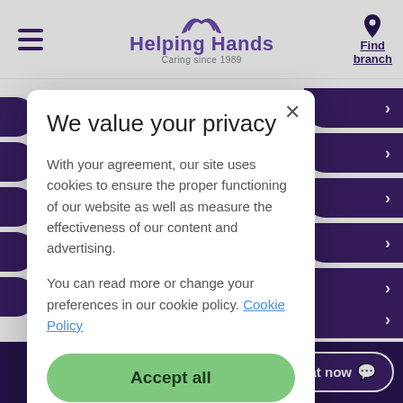Helping Hands — Caring since 1989
We value your privacy
With your agreement, our site uses cookies to ensure the proper functioning of our website as well as measure the effectiveness of our content and advertising.
You can read more or change your preferences in our cookie policy. Cookie Policy
Accept all
MANAGE SETTINGS
Privacy & cookies